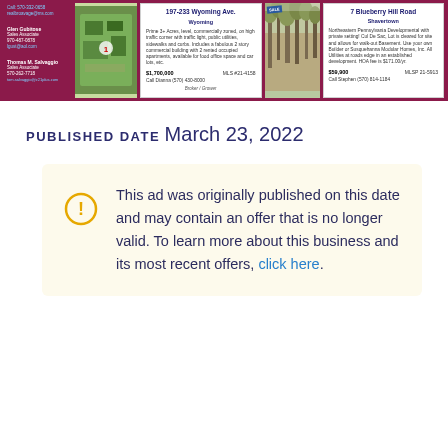[Figure (other): Real estate advertisement banner with dark red/maroon background showing two property listings: '197-233 Wyoming Ave. Wyoming' priced at $1,700,000 MLS #21-4158, and '7 Blueberry Hill Road Shavertown' priced at $59,900 MLSP 21-5913. Includes aerial/satellite photo of Wyoming property and forest photo of Shavertown property. Agent names Glen Gubitose and Thomas M. Salvaggio listed on left side.]
PUBLISHED DATE
March 23, 2022
This ad was originally published on this date and may contain an offer that is no longer valid. To learn more about this business and its most recent offers, click here.